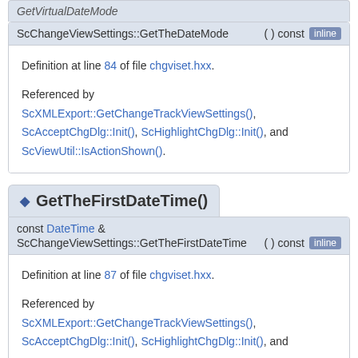ScChangeViewSettings::GetTheDateMode ( ) const [inline]
Definition at line 84 of file chgviset.hxx.
Referenced by ScXMLExport::GetChangeTrackViewSettings(), ScAcceptChgDlg::Init(), ScHighlightChgDlg::Init(), and ScViewUtil::IsActionShown().
◆ GetTheFirstDateTime()
const DateTime & ScChangeViewSettings::GetTheFirstDateTime ( ) const [inline]
Definition at line 87 of file chgviset.hxx.
Referenced by ScXMLExport::GetChangeTrackViewSettings(), ScAcceptChgDlg::Init(), ScHighlightChgDlg::Init(), and